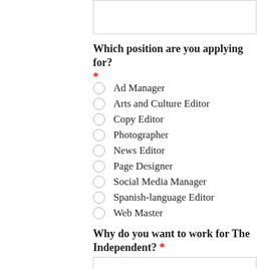[text input box at top]
Which position are you applying for? *
Ad Manager
Arts and Culture Editor
Copy Editor
Photographer
News Editor
Page Designer
Social Media Manager
Spanish-language Editor
Web Master
Why do you want to work for The Independent? *
[text input box at bottom]